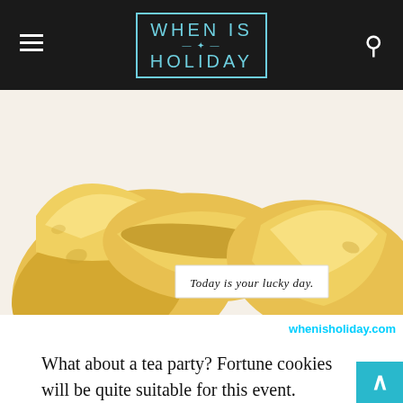WHEN IS HOLIDAY
[Figure (photo): Close-up photo of fortune cookies with a paper slip reading 'Today is your lucky day.' and a watermark 'whenisholiday.com']
What about a tea party? Fortune cookies will be quite suitable for this event.
The recipe for these cookies preparation is pretty simple. You may easily cook them at home, amusing the guests or kids or buy at the shops